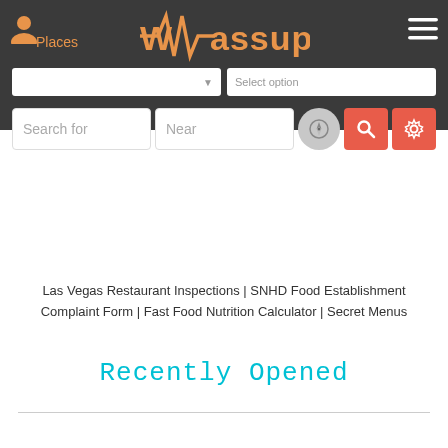Wassup! — Places | Select option
[Figure (screenshot): Wassup! app logo with orange waveform/pulse graphic and stylized text]
[Figure (screenshot): Search interface with 'Search for' and 'Near' input fields, compass button, red search button, and red settings/gear button]
Las Vegas Restaurant Inspections | SNHD Food Establishment Complaint Form | Fast Food Nutrition Calculator | Secret Menus
Recently Opened